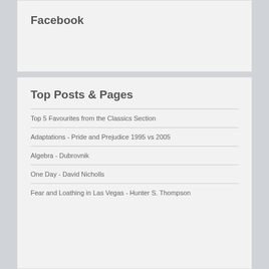Facebook
Top Posts & Pages
Top 5 Favourites from the Classics Section
Adaptations - Pride and Prejudice 1995 vs 2005
Algebra - Dubrovnik
One Day - David Nicholls
Fear and Loathing in Las Vegas - Hunter S. Thompson